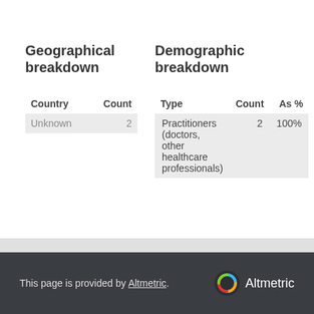Geographical breakdown
| Country | Count |
| --- | --- |
| Unknown | 2 |
Demographic breakdown
| Type | Count | As % |
| --- | --- | --- |
| Practitioners (doctors, other healthcare professionals) | 2 | 100% |
This page is provided by Altmetric.